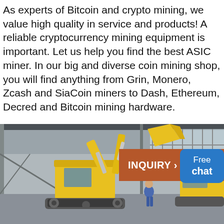As experts of Bitcoin and crypto mining, we value high quality in service and products! A reliable cryptocurrency mining equipment is important. Let us help you find the best ASIC miner. In our big and diverse coin mining shop, you will find anything from Grin, Monero, Zcash and SiaCoin miners to Dash, Ethereum, Decred and Bitcoin mining hardware.
[Figure (photo): Yellow excavator / heavy mining machinery inside an industrial warehouse, with a worker visible beside it.]